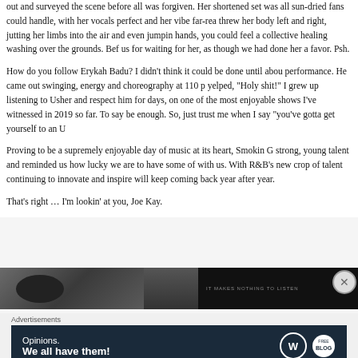out and surveyed the scene before all was forgiven. Her shortened set was all sun-dried fans could handle, with her vocals perfect and her vibe far-reaching. She threw her body left and right, jutting her limbs into the air and even jumping with both hands, you could feel a collective healing washing over the grounds. Before the end she thanked us for waiting for her, as though we had done her a favor. Psh.
How do you follow Erykah Badu? I didn't think it could be done until about 20 minutes into Usher's performance. He came out swinging, energy and choreography at 110 percent, and I literally yelped, "Holy shit!" I grew up listening to Usher and respect him for days, so he's already working on one of the most enjoyable shows I've witnessed in 2019 so far. To say more would almost not be enough. So, just trust me when I say "you've gotta get yourself to an Usher show."
Proving to be a supremely enjoyable day of music at its heart, Smokin Grooves brought out strong, young talent and reminded us how lucky we are to have some of these legends still rocking with us. With R&B's new crop of talent continuing to innovate and inspire, we know the fanbase will keep coming back year after year.
That's right … I'm lookin' at you, Joe Kay.
[Figure (photo): A strip of three photos/images at the bottom of the article — left showing a dark concert scene with a figure, middle a dark image, right a dark banner with text overlay.]
Advertisements
[Figure (infographic): Advertisement banner with dark navy background. Text reads 'Opinions. We all have them!' with WordPress logo (WP circle) and another circular logo on the right side.]